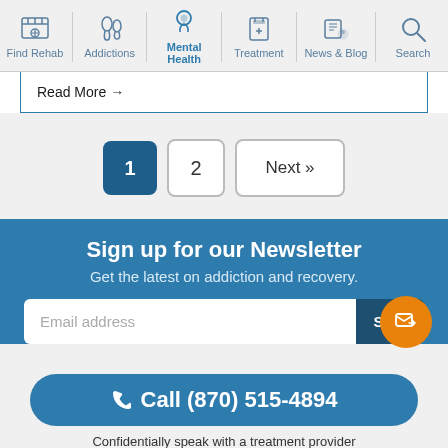Find Rehab | Addictions | Mental Health | Treatment | News & Blog | Search
Read More →
1  2  Next »
Sign up for our Newsletter
Get the latest on addiction and recovery.
Email address
Call (870) 515-4894
Confidentially speak with a treatment provider